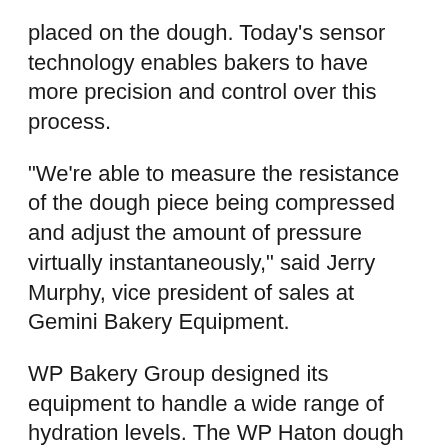placed on the dough. Today's sensor technology enables bakers to have more precision and control over this process.
“We’re able to measure the resistance of the dough piece being compressed and adjust the amount of pressure virtually instantaneously,” said Jerry Murphy, vice president of sales at Gemini Bakery Equipment.
WP Bakery Group designed its equipment to handle a wide range of hydration levels. The WP Haton dough dividers provide weight accuracy and speed with a gentle touch, while the WP Haton Voluminator technology prevents extrusion and softens the movement of the divider ram.
“It doesn’t damage the dough when fully in use,” Mr. Nagel explained.
Fritsch uses a guillotine to divide the dough but synchronizes its movement with the belt. This prevents jams and